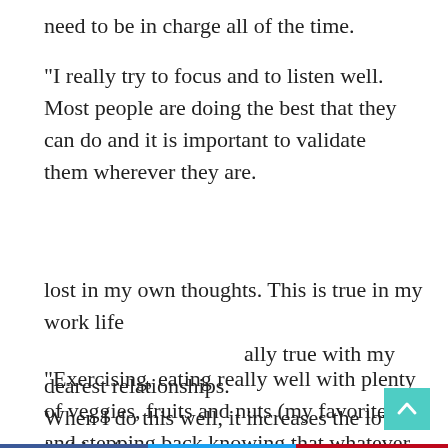need to be in charge all of the time.
“I really try to focus and to listen well. Most people are doing the best that they can do and it is important to validate them wherever they are.
[Figure (infographic): Social share buttons: Facebook (blue), Twitter (light blue), Pinterest (red), and Email (dark grey)]
lost in my own thoughts. This is true in my work life ally true with my dearest relationships. When I do this well, it increases the love inside of me.
“Exercising, eating really well with plenty of veggies, fruits and nuts (my favorite) and stepping back knowing that whatever obstacle I am facing will pass